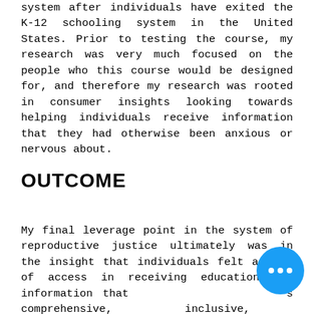system after individuals have exited the K-12 schooling system in the United States. Prior to testing the course, my research was very much focused on the people who this course would be designed for, and therefore my research was rooted in consumer insights looking towards helping individuals receive information that they had otherwise been anxious or nervous about.
OUTCOME
My final leverage point in the system of reproductive justice ultimately was in the insight that individuals felt a lack of access in receiving education and information that was comprehensive, inclusive, and personalized to their own lives.